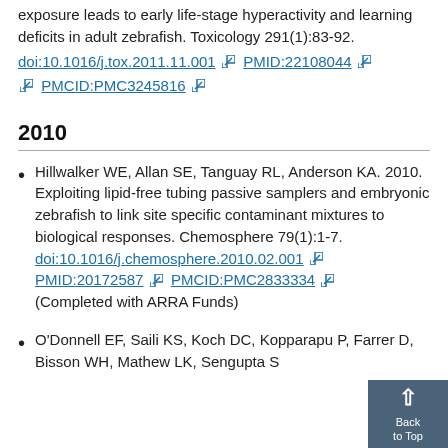exposure leads to early life stage hyperactivity and learning deficits in adult zebrafish. Toxicology 291(1):83-92.
doi:10.1016/j.tox.2011.11.001  PMID:22108044  PMCID:PMC3245816
2010
Hillwalker WE, Allan SE, Tanguay RL, Anderson KA. 2010. Exploiting lipid-free tubing passive samplers and embryonic zebrafish to link site specific contaminant mixtures to biological responses. Chemosphere 79(1):1-7. doi:10.1016/j.chemosphere.2010.02.001  PMID:20172587  PMCID:PMC2833334 (Completed with ARRA Funds)
O'Donnell EF, Saili KS, Koch DC, Kopparapu P, Farrer D, Bisson WH, Mathew LK, Sengupta S...